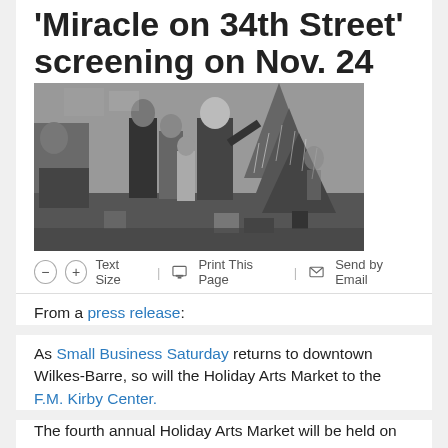Miracle on 34th Street' screening on Nov. 24
[Figure (photo): Black and white still from 'Miracle on 34th Street' showing a man in a suit, a woman, a young girl, and Santa Claus standing near a decorated Christmas tree in a living room scene.]
(-) (+) Text Size | Print This Page | Send by Email
From a press release:
As Small Business Saturday returns to downtown Wilkes-Barre, so will the Holiday Arts Market to the F.M. Kirby Center.
The fourth annual Holiday Arts Market will be held on Saturday, Nov. 24 from 10 a.m. until 5